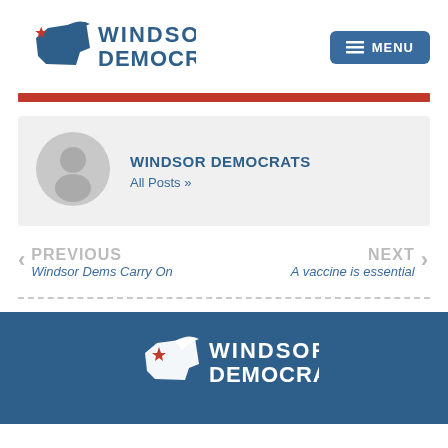Windsor Democrats | MENU
[Figure (logo): Windsor Democrats logo with Connecticut state outline and star, blue text]
[Figure (logo): Generic user avatar circle icon in grey]
WINDSOR DEMOCRATS
All Posts »
< PREVIOUS
Windsor Dems Carry On
NEXT >
A vaccine is essential
Windsor Democrats footer logo (white on blue)